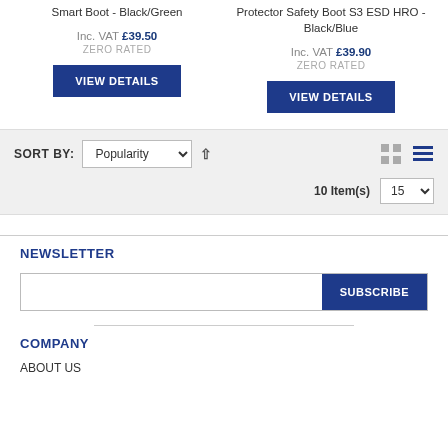Smart Boot - Black/Green
Protector Safety Boot S3 ESD HRO - Black/Blue
Inc. VAT £39.50 ZERO RATED
Inc. VAT £39.90 ZERO RATED
VIEW DETAILS
VIEW DETAILS
SORT BY: Popularity ↑  10 Item(s) 15
NEWSLETTER
SUBSCRIBE
COMPANY
ABOUT US